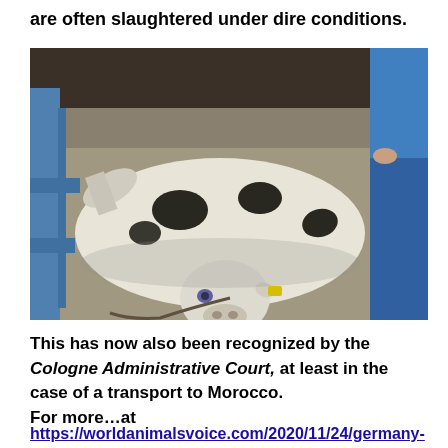are often slaughtered under dire conditions.
[Figure (photo): A cow lying on its side on a concrete floor in what appears to be a slaughterhouse or holding area. The cow is black and white with a yellow ear tag. A person in blue jeans and blue shirt stands to the right. Blue and red metal structures are visible on the sides.]
This has now also been recognized by the Cologne Administrative Court, at least in the case of a transport to Morocco.
For more…at
https://worldanimalsvoice.com/2020/11/24/germany-